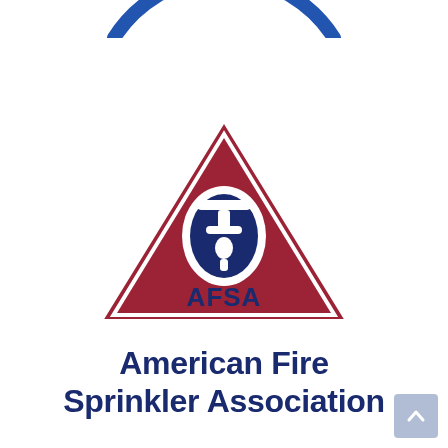[Figure (logo): AFSA American Fire Sprinkler Association logo: partial blue arc at top, red triangle with white border containing a blue circle with fire sprinkler head icon and 'AFSA' text below the triangle in dark navy blue, followed by 'American Fire Sprinkler Association' in bold dark navy text.]
American Fire Sprinkler Association